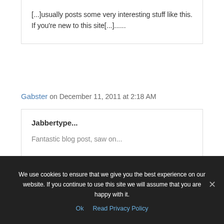[...]usually posts some very interesting stuff like this. If you're new to this site[...]......
Gabster on December 11, 2011 at 2:18 AM
Jabbertype...
Fantastic blog post, saw on...
We use cookies to ensure that we give you the best experience on our website. If you continue to use this site we will assume that you are happy with it.
Ok   Read Privacy Policy